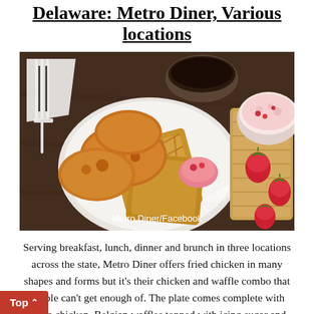Delaware: Metro Diner, Various locations
[Figure (photo): Plate of fried chicken and Belgian waffles with strawberry butter on a wooden table, with a bowl of strawberry cream and fresh strawberries. Photo credit: Metro Diner/Facebook]
Metro Diner/Facebook
Serving breakfast, lunch, dinner and brunch in three locations across the state, Metro Diner offers fried chicken in many shapes and forms but it's their chicken and waffle combo that people can't get enough of. The plate comes complete with half a chicken, Belgian waffles topped with icing sugar and sweet strawberry butter. The dish is finished